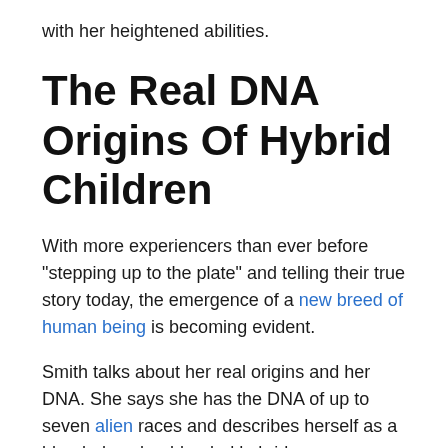with her heightened abilities.
The Real DNA Origins Of Hybrid Children
With more experiencers than ever before “stepping up to the plate” and telling their true story today, the emergence of a new breed of human being is becoming evident.
Smith talks about her real origins and her DNA. She says she has the DNA of up to seven alien races and describes herself as a blended soul or blended hybrid.
Her mother was taken while pregnant with